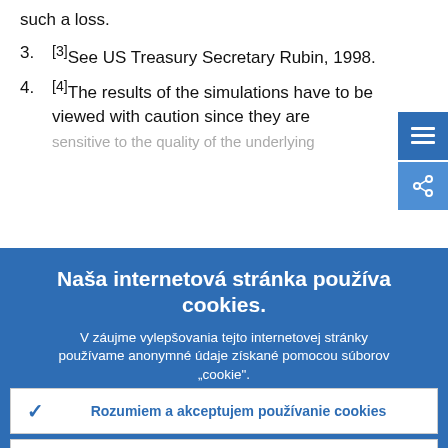such a loss.
[3]See US Treasury Secretary Rubin, 1998.
[4]The results of the simulations have to be viewed with caution since they are sensitive to the quality of the underlying...
Naša internetová stránka používa cookies.
V záujme vylepšovania tejto internetovej stránky používame anonymné údaje získané pomocou súborov „cookie".
› Viac informácií o používaní cookies
✓ Rozumiem a akceptujem používanie cookies
✗ Neakceptujem používanie cookies